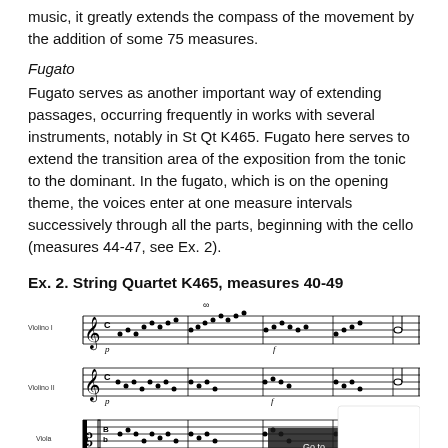music, it greatly extends the compass of the movement by the addition of some 75 measures.
Fugato
Fugato serves as another important way of extending passages, occurring frequently in works with several instruments, notably in St Qt K465. Fugato here serves to extend the transition area of the exposition from the tonic to the dominant. In the fugato, which is on the opening theme, the voices enter at one measure intervals successively through all the parts, beginning with the cello (measures 44-47, see Ex. 2).
Ex. 2. String Quartet K465, measures 40-49
[Figure (illustration): Musical score excerpt showing String Quartet K465 measures 40-49, with parts for Violino I, Violino II, and Viola visible, showing notes, dynamics (p, f), and musical notation.]